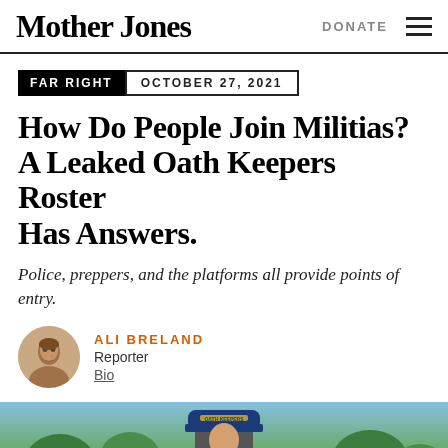Mother Jones | DONATE
FAR RIGHT   OCTOBER 27, 2021
How Do People Join Militias? A Leaked Oath Keepers Roster Has Answers.
Police, preppers, and the platforms all provide points of entry.
ALI BRELAND
Reporter
Bio
[Figure (photo): A person wearing a blue Oath Keepers cap, photographed outdoors with trees in background.]